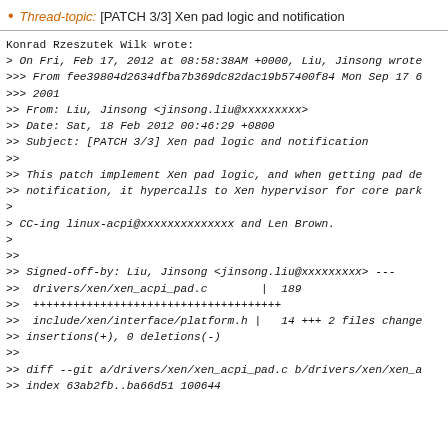Thread-topic: [PATCH 3/3] Xen pad logic and notification
Konrad Rzeszutek Wilk wrote:
> On Fri, Feb 17, 2012 at 08:58:38AM +0000, Liu, Jinsong wrote
>>> From fee39804d2634dfba7b369dc82dac19b57400f84 Mon Sep 17 6
>>> 2001
>> From: Liu, Jinsong <jinsong.liu@xxxxxxxxx>
>> Date: Sat, 18 Feb 2012 00:46:29 +0800
>> Subject: [PATCH 3/3] Xen pad logic and notification
>>
>> This patch implement Xen pad logic, and when getting pad de
>> notification, it hypercalls to Xen hypervisor for core park
>
> CC-ing linux-acpi@xxxxxxxxxxxxxx and Len Brown.
>
>>
>> Signed-off-by: Liu, Jinsong <jinsong.liu@xxxxxxxxx> ---
>>  drivers/xen/xen_acpi_pad.c        |  189
>>  +++++++++++++++++++++++++++++++++++++
>>  include/xen/interface/platform.h |   14 +++ 2 files change
>> insertions(+), 0 deletions(-)
>>
>> diff --git a/drivers/xen/xen_acpi_pad.c b/drivers/xen/xen_a
>> index 63ab2fb..ba66d51 100644